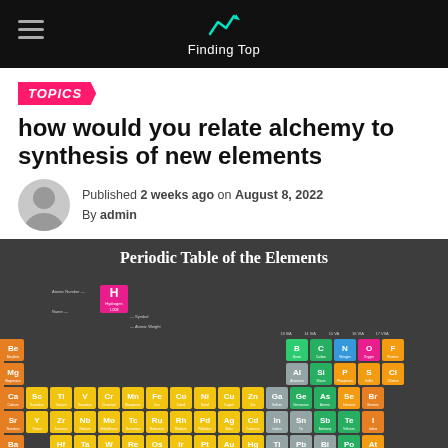Finding Top
TOPICS
how would you relate alchemy to synthesis of new elements
Published 2 weeks ago on August 8, 2022
By admin
[Figure (infographic): Periodic Table of the Elements infographic showing full color-coded periodic table with element symbols, atomic numbers, and legend.]